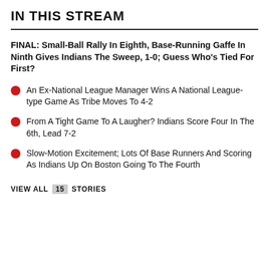IN THIS STREAM
FINAL: Small-Ball Rally In Eighth, Base-Running Gaffe In Ninth Gives Indians The Sweep, 1-0; Guess Who's Tied For First?
An Ex-National League Manager Wins A National League-type Game As Tribe Moves To 4-2
From A Tight Game To A Laugher? Indians Score Four In The 6th, Lead 7-2
Slow-Motion Excitement; Lots Of Base Runners And Scoring As Indians Up On Boston Going To The Fourth
VIEW ALL  15  STORIES